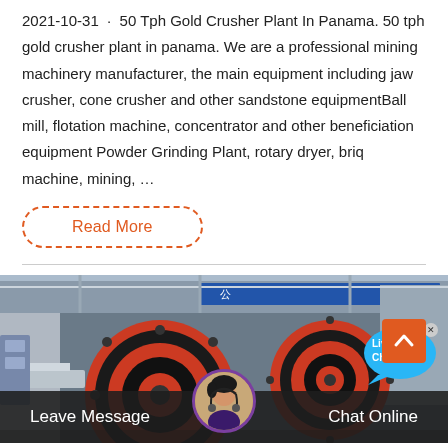2021-10-31 · 50 Tph Gold Crusher Plant In Panama. 50 tph gold crusher plant in panama. We are a professional mining machinery manufacturer, the main equipment including jaw crusher, cone crusher and other sandstone equipmentBall mill, flotation machine, concentrator and other beneficiation equipment Powder Grinding Plant, rotary dryer, briq machine, mining, …
Read More
[Figure (photo): Industrial mining machinery / crusher equipment in a factory setting with large red and black circular grinding mill components visible. Chinese text on blue banner in background.]
Leave Message   Chat Online